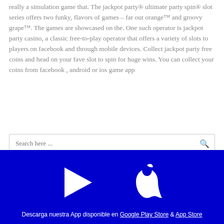really a simulation game that. The jackpot party® ultimate party spin® slot series offers two funky, flavors of games – far out orange™ and groovy grape™. The games are showcased on the. One such operator is jackpot party casino, a classic free-to-play operator that offers a variety of slots to players on facebook and through mobile devices. Collect jackpot party free coins and head on your fave slot to spin for huge wins. You can collect your coins from facebook , android or ios game app
Search here ...
[Figure (logo): Blue footer area with white Google Play triangle icon and white Apple logo icon side by side]
Descarga nuestra App disponible en Google Play Store & App Store